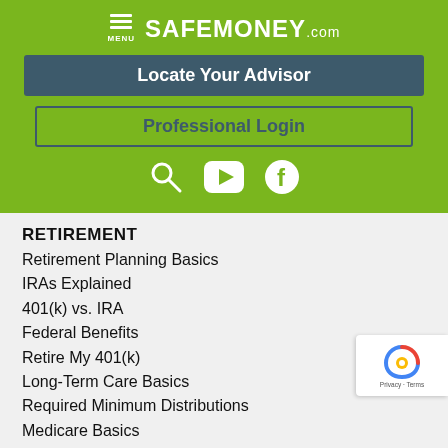[Figure (logo): SafeMoney.com website header with green background, hamburger menu icon, SAFEMONEY.com logo, Locate Your Advisor button, Professional Login button, and social media icons (search, YouTube, Facebook)]
RETIREMENT
Retirement Planning Basics
IRAs Explained
401(k) vs. IRA
Federal Benefits
Retire My 401(k)
Long-Term Care Basics
Required Minimum Distributions
Medicare Basics
Social Security Benefits
ESTATE PLANNING
Estate Planning Basics